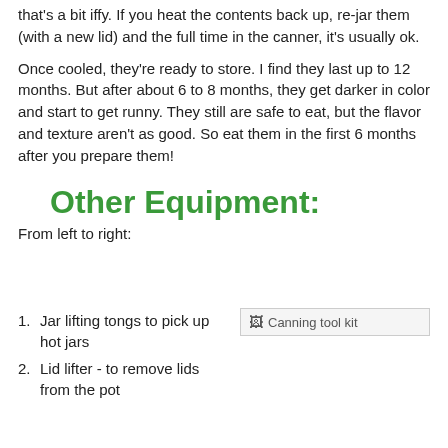that's a bit iffy. If you heat the contents back up, re-jar them (with a new lid) and the full time in the canner, it's usually ok.
Once cooled, they're ready to store. I find they last up to 12 months. But after about 6 to 8 months, they get darker in color and start to get runny. They still are safe to eat, but the flavor and texture aren't as good. So eat them in the first 6 months after you prepare them!
Other Equipment:
From left to right:
Jar lifting tongs to pick up hot jars
Lid lifter - to remove lids from the pot
[Figure (photo): Canning tool kit image placeholder]